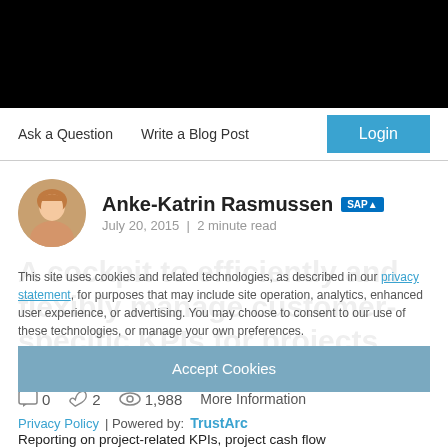[Figure (screenshot): Black navigation bar at top of page]
Ask a Question   Write a Blog Post   Login
[Figure (photo): Circular avatar photo of Anke-Katrin Rasmussen]
Anke-Katrin Rasmussen SAP
July 20, 2015  |  2 minute read
A cockpit to efficiently and flexibly manage customer-specific KPIs for projects
This site uses cookies and related technologies, as described in our privacy statement, for purposes that may include site operation, analytics, enhanced user experience, or advertising. You may choose to consent to our use of these technologies, or manage your own preferences.
Accept Cookies
0   2   1,988   More Information
Privacy Policy | Powered by: TrustArc
Reporting on project-related KPIs, project cash flow